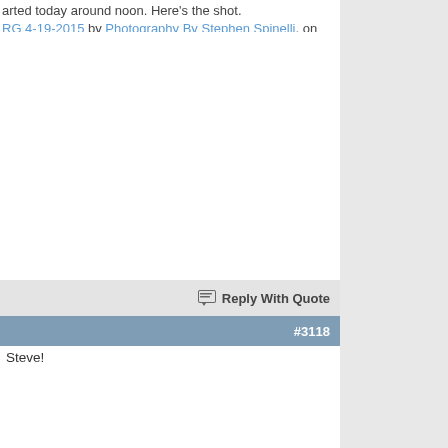...arted today around noon. Here's the shot. RG 4-19-2015 by Photography By Stephen Spinelli, on
[Figure (photo): White/blank area representing a photograph embedded in a forum post]
Reply With Quote
#3118
Steve!